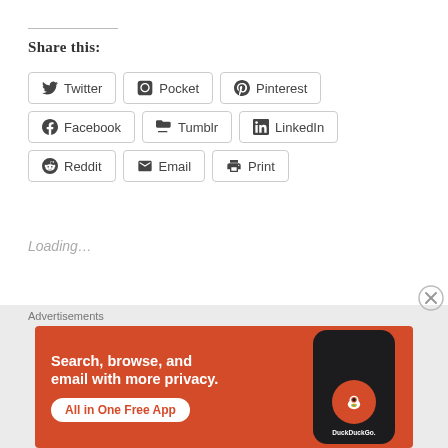Share this:
Twitter
Pocket
Pinterest
Facebook
Tumblr
LinkedIn
Reddit
Email
Print
Loading...
[Figure (screenshot): DuckDuckGo advertisement banner: orange background with text 'Search, browse, and email with more privacy. All in One Free App' and a phone showing the DuckDuckGo app logo]
Advertisements